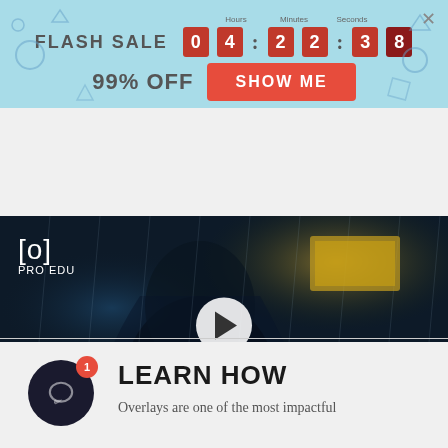[Figure (screenshot): Flash sale banner with countdown timer showing 04:22:38, 99% OFF label and SHOW ME button on light blue background]
[Figure (screenshot): Video thumbnail showing Batman figure in dark cinematic scene with PRO EDU logo, play button, and text HOW TO USE OVERLAYS / ADD INTEREST & DEPTH WITH BLEND MODES]
LEARN HOW
Overlays are one of the most impactful